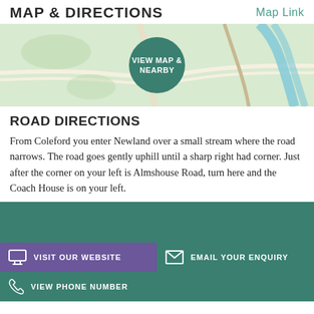MAP & DIRECTIONS    Map Link
[Figure (map): A map image showing the area around Newland with a circular 'VIEW MAP & NEARBY' button overlay in the center]
ROAD DIRECTIONS
From Coleford you enter Newland over a small stream where the road narrows. The road goes gently uphill until a sharp right had corner. Just after the corner on your left is Almshouse Road, turn here and the Coach House is on your left.
VISIT OUR WEBSITE   EMAIL YOUR ENQUIRY   VIEW PHONE NUMBER